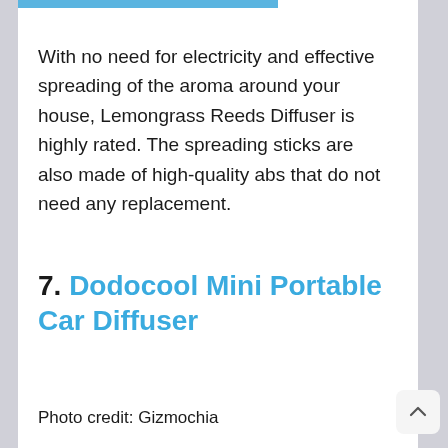With no need for electricity and effective spreading of the aroma around your house, Lemongrass Reeds Diffuser is highly rated. The spreading sticks are also made of high-quality abs that do not need any replacement.
7. Dodocool Mini Portable Car Diffuser
Photo credit: Gizmochia